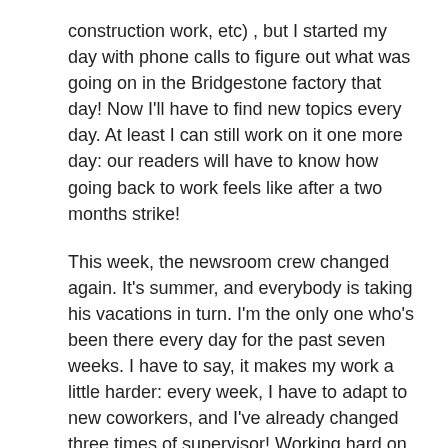construction work, etc) , but I started my day with phone calls to figure out what was going on in the Bridgestone factory that day! Now I'll have to find new topics every day. At least I can still work on it one more day: our readers will have to know how going back to work feels like after a two months strike!
This week, the newsroom crew changed again. It's summer, and everybody is taking his vacations in turn. I'm the only one who's been there every day for the past seven weeks. I have to say, it makes my work a little harder: every week, I have to adapt to new coworkers, and I've already changed three times of supervisor! Working hard on my flexibility there… They all want different things from me as far as topics or writing style, but I think it's somehow a good thing. Overall, I'm learning a lot.